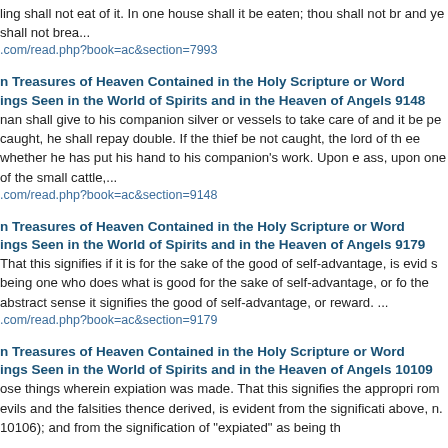ling shall not eat of it. In one house shall it be eaten; thou shalt not br and ye shall not brea...
.com/read.php?book=ac&section=7993
n Treasures of Heaven Contained in the Holy Scripture or Word ings Seen in the World of Spirits and in the Heaven of Angels 9148
nan shall give to his companion silver or vessels to take care of and it be pe caught, he shall repay double. If the thief be not caught, the lord of th ee whether he has put his hand to his companion's work. Upon e ass, upon one of the small cattle,...
.com/read.php?book=ac&section=9148
n Treasures of Heaven Contained in the Holy Scripture or Word ings Seen in the World of Spirits and in the Heaven of Angels 9179
That this signifies if it is for the sake of the good of self-advantage, is evid s being one who does what is good for the sake of self-advantage, or fo the abstract sense it signifies the good of self-advantage, or reward. ...
.com/read.php?book=ac&section=9179
n Treasures of Heaven Contained in the Holy Scripture or Word ings Seen in the World of Spirits and in the Heaven of Angels 10109
ose things wherein expiation was made. That this signifies the appropri rom evils and the falsities thence derived, is evident from the significati above, n. 10106); and from the signification of "expiated" as being th